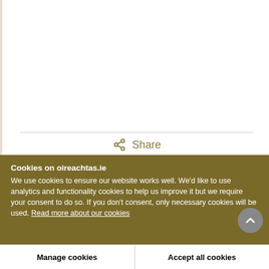[Figure (other): White content area with a horizontal divider line and a Share button with share icon in gold/olive color]
Share
Cookies on oireachtas.ie
We use cookies to ensure our website works well. We'd like to use analytics and functionality cookies to help us improve it but we require your consent to do so. If you don't consent, only necessary cookies will be used. Read more about our cookies
Manage cookies
Accept all cookies